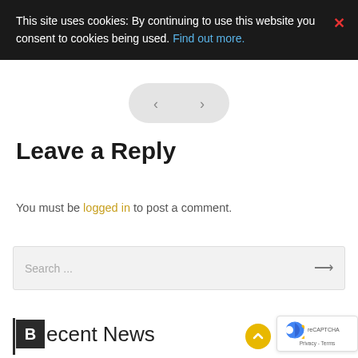This site uses cookies: By continuing to use this website you consent to cookies being used. Find out more.
[Figure (other): Navigation arrows (< >) in a pill-shaped gray button]
Leave a Reply
You must be logged in to post a comment.
[Figure (other): Search bar with placeholder text 'Search ...' and an arrow button]
Recent News
[Figure (other): reCAPTCHA badge with logo and Privacy - Terms text]